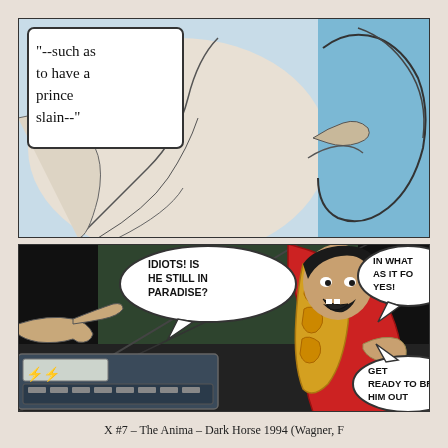[Figure (illustration): Comic book panel showing a large figure in light colors with a speech bubble reading '"--such as to have a prince slain--"' on a light background with blue accents and figures in the right portion.]
[Figure (illustration): Comic book panel on dark background showing a villain in red cape and yellow ornate costume shouting, with speech bubbles: 'IDIOTS! IS HE STILL IN PARADISE?' and 'IN WHAT AS IT FO YES!' and 'GET READY TO BR HIM OUT'. A hand pointing at a computer keyboard is visible on the left.]
X #7 – The Anima – Dark Horse 1994 (Wagner, F